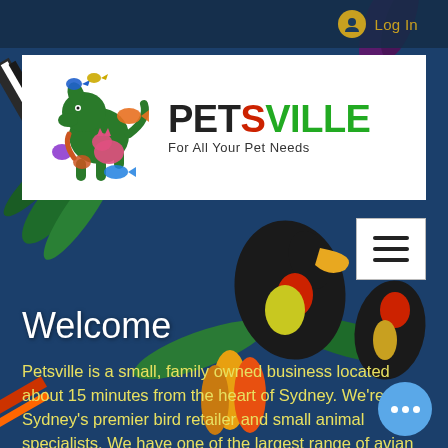[Figure (screenshot): Mobile website screenshot of Petsville pet store homepage with tropical background featuring colorful birds and foliage in dark blue/green tones]
Log In
[Figure (logo): Petsville logo: colorful animal silhouettes (dog, cat, fish, bird) with a green dinosaur/dog figure, text reads PETSVILLE For All Your Pet Needs]
Welcome
Petsville is a small, family owned business located about 15 minutes from the heart of Sydney. We're Sydney's premier bird retailer and small animal specialists. We have one of the largest range of avian and small animal